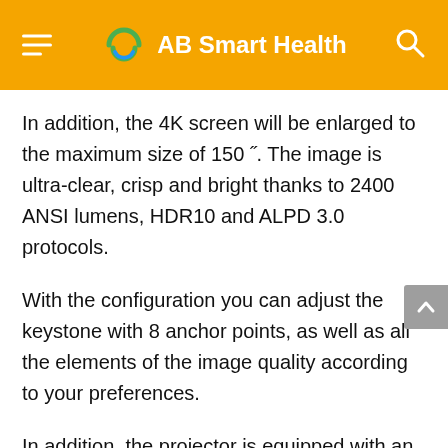AB Smart Health
In addition, the 4K screen will be enlarged to the maximum size of 150 ˝. The image is ultra-clear, crisp and bright thanks to 2400 ANSI lumens, HDR10 and ALPD 3.0 protocols.
With the configuration you can adjust the keystone with 8 anchor points, as well as all the elements of the image quality according to your preferences.
In addition, the projector is equipped with an intelligent diffusion-reflection system to reduce radiation and visual fatigue of the human eye. It incorporates an infrared sensor and a body sensor on both sides of the lens. It intelligently reduces the